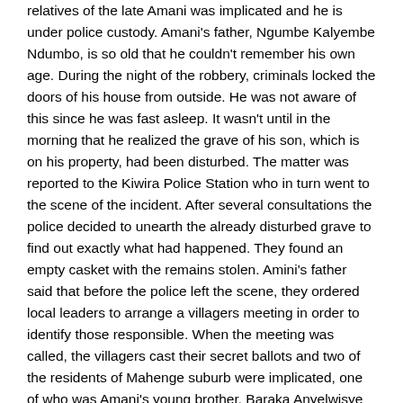relatives of the late Amani was implicated and he is under police custody. Amani's father, Ngumbe Kalyembe Ndumbo, is so old that he couldn't remember his own age. During the night of the robbery, criminals locked the doors of his house from outside. He was not aware of this since he was fast asleep. It wasn't until in the morning that he realized the grave of his son, which is on his property, had been disturbed. The matter was reported to the Kiwira Police Station who in turn went to the scene of the incident. After several consultations the police decided to unearth the already disturbed grave to find out exactly what had happened. They found an empty casket with the remains stolen. Amini's father said that before the police left the scene, they ordered local leaders to arrange a villagers meeting in order to identify those responsible. When the meeting was called, the villagers cast their secret ballots and two of the residents of Mahenge suburb were implicated, one of who was Amani's young brother, Baraka Anyelwisye Kalyembe. He is currently under police custody for further investigations. The second accused person is said to have fled to an unknown destination. The Ibililo Village Executive Officer (VEO), Jane John